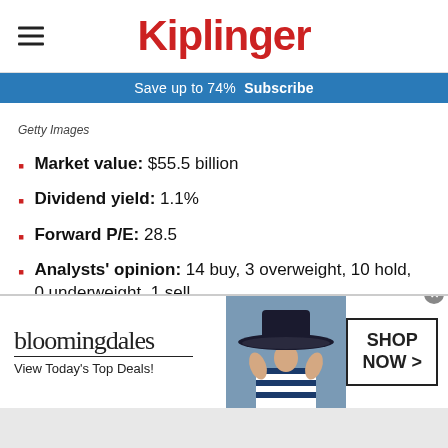Kiplinger
Save up to 74% Subscribe
Getty Images
Market value: $55.5 billion
Dividend yield: 1.1%
Forward P/E: 28.5
Analysts' opinion: 14 buy, 3 overweight, 10 hold, 0 underweight, 1 sell
[Figure (photo): Bloomingdale's advertisement banner with woman in hat. Text: bloomingdales, View Today's Top Deals!, SHOP NOW >]